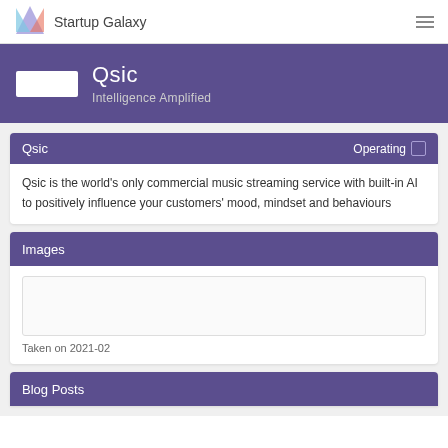Startup Galaxy
Qsic
Intelligence Amplified
Qsic   Operating
Qsic is the world's only commercial music streaming service with built-in AI to positively influence your customers' mood, mindset and behaviours
Images
[Figure (photo): Empty image placeholder]
Taken on 2021-02
Blog Posts